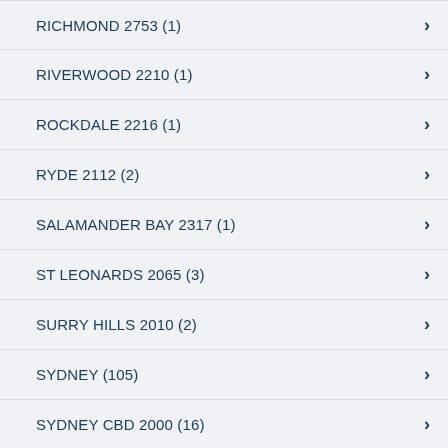RICHMOND  2753 (1)
RIVERWOOD  2210 (1)
ROCKDALE  2216 (1)
RYDE  2112 (2)
SALAMANDER BAY  2317 (1)
ST LEONARDS  2065 (3)
SURRY HILLS  2010 (2)
SYDNEY  (105)
SYDNEY CBD  2000 (16)